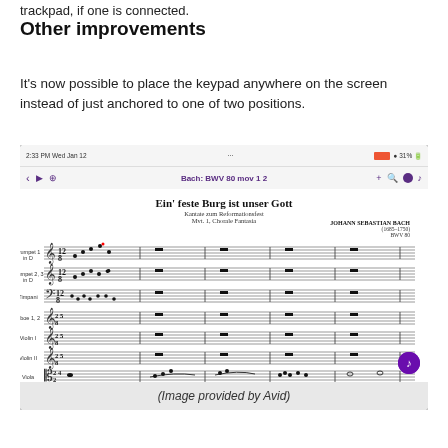trackpad, if one is connected.
Other improvements
It's now possible to place the keypad anywhere on the screen instead of just anchored to one of two positions.
[Figure (screenshot): Screenshot of a tablet app showing sheet music for 'Ein' feste Burg ist unser Gott' by Johann Sebastian Bach (BWV 80), with instrument staves for Trumpet 1 in D, Trumpet 2,3 in D, Timpani, Oboe 1,2, Violin I, Violin II, and Viola visible.]
(Image provided by Avid)